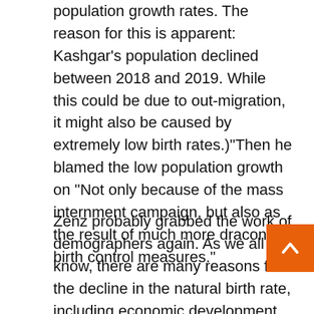population growth rates. The reason for this is apparent: Kashgar's population declined between 2018 and 2019. While this could be due to out-migration, it might also be caused by extremely low birth rates.)"Then he blamed the low population growth on "Not only because of the mass internment campaign, but also as the result of much more draconian birth control measures."
Zenz probably grabbed the work of demographers again. As we all know, there are many reasons for the decline in the natural birth rate, including economic development, more people accepting higher education and lowering their fertility will. Generally, as the economy and education level increase, the birth rate of many ethnic groups in the world are declining. senior researcher Zenz does not need to investigate and for the some reason for the decline in the...